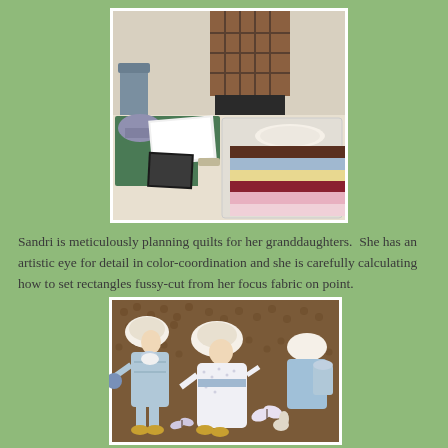[Figure (photo): Person standing behind a table with quilting supplies: fabric rolls, cutting mat, papers, and a storage bin with folded fabrics in various colors and patterns.]
Sandri is meticulously planning quilts for her granddaughters.  She has an artistic eye for detail in color-coordination and she is carefully calculating how to set rectangles fussy-cut from her focus fabric on point.
[Figure (photo): Close-up of a brown quilting fabric featuring illustrated children in bonnets and dresses (Holly Hobbie style) with butterflies and floral elements on a dark brown textured background.]